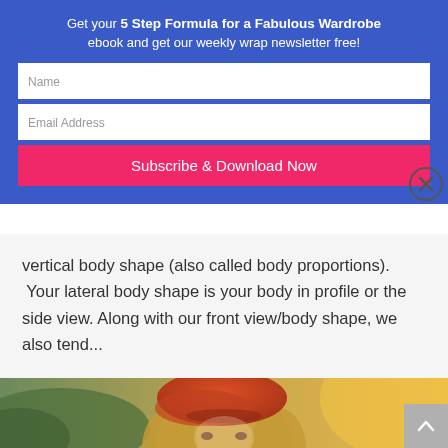Get your 5 Step Formula for a Fabulous Wardrobe ebook and get our weekly wrap newsletter free!
vertical body shape (also called body proportions). Your lateral body shape is your body in profile or the side view. Along with our front view/body shape, we also tend...
[Figure (photo): Woman wearing an orange/red beret hat with blonde wavy hair, outdoors with blurred green and warm background]